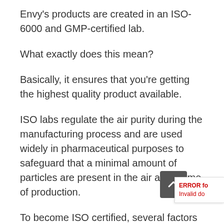Envy's products are created in an ISO-6000 and GMP-certified lab.
What exactly does this mean?
Basically, it ensures that you're getting the highest quality product available.
ISO labs regulate the air purity during the manufacturing process and are used widely in pharmaceutical purposes to safeguard that a minimal amount of particles are present in the air at the time of production.
To become ISO certified, several factors must be considered including air quality, room temperature, pressure, air intake and exhaust, filtration units, an...